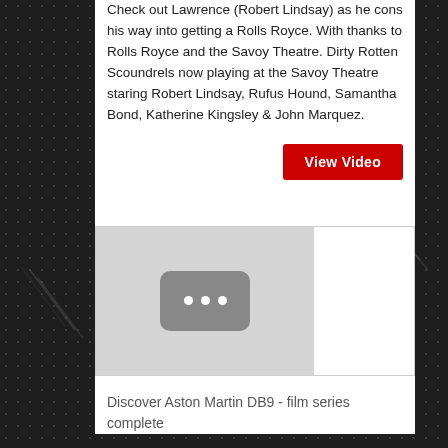Check out Lawrence (Robert Lindsay) as he cons his way into getting a Rolls Royce. With thanks to Rolls Royce and the Savoy Theatre. Dirty Rotten Scoundrels now playing at the Savoy Theatre staring Robert Lindsay, Rufus Hound, Samantha Bond, Katherine Kingsley & John Marquez.
[Figure (other): Red 'View Video' button]
[Figure (screenshot): Video thumbnail placeholder with grey background and rounded-rectangle play icon with three white dots]
Discover Aston Martin DB9 - film series complete